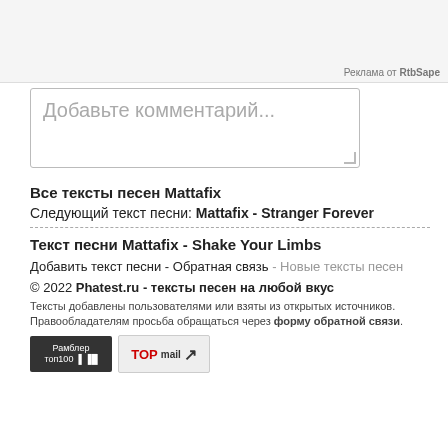[Figure (other): Advertisement banner area with 'Реклама от RtbSape' label]
Добавьте комментарий...
Все тексты песен Mattafix
Следующий текст песни: Mattafix - Stranger Forever
Текст песни Mattafix - Shake Your Limbs
Добавить текст песни - Обратная связь - Новые тексты песен
© 2022 Phatest.ru - тексты песен на любой вкус
Тексты добавлены пользователями или взяты из открытых источников.
Правообладателям просьба обращаться через форму обратной связи.
[Figure (logo): Rambler топ100 and TOP mail.ru badges]